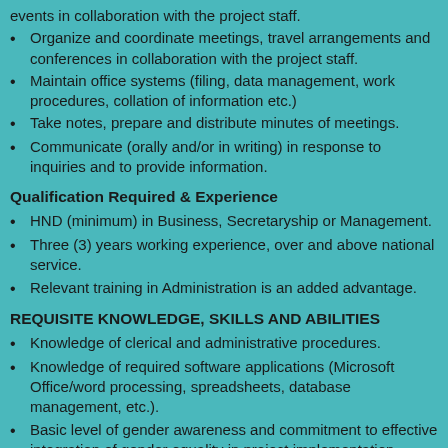events in collaboration with the project staff.
Organize and coordinate meetings, travel arrangements and conferences in collaboration with the project staff.
Maintain office systems (filing, data management, work procedures, collation of information etc.)
Take notes, prepare and distribute minutes of meetings.
Communicate (orally and/or in writing) in response to inquiries and to provide information.
Qualification Required & Experience
HND (minimum) in Business, Secretaryship or Management.
Three (3) years working experience, over and above national service.
Relevant training in Administration is an added advantage.
REQUISITE KNOWLEDGE, SKILLS AND ABILITIES
Knowledge of clerical and administrative procedures.
Knowledge of required software applications (Microsoft Office/word processing, spreadsheets, database management, etc.).
Basic level of gender awareness and commitment to effective integration of gender equality in project implementation.
Supply management and inventory control.
Good command of verbal communication (oral and written)/language (grammar, spelling etc.) in English.